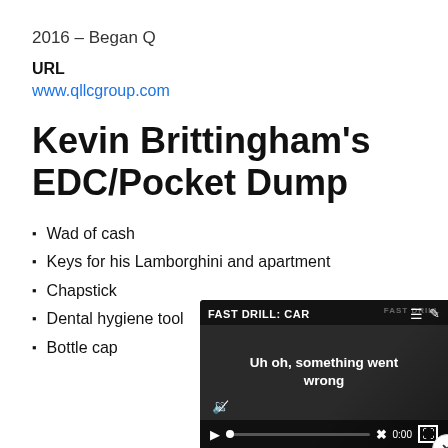2016 – Began Q
URL
www.qllcgroup.com
Kevin Brittingham's EDC/Pocket Dump
Wad of cash
Keys for his Lamborghini and apartment
Chapstick
Dental hygiene tool
Bottle cap
[Figure (screenshot): Video player overlay showing 'FAST DRILL: CAR' title bar with menu and edit icons, error message 'Uh oh, something went wrong' in center, mute icon, X button, play button, timeline at 0:00, and fullscreen button. Close (x) button in top-right corner of overlay.]